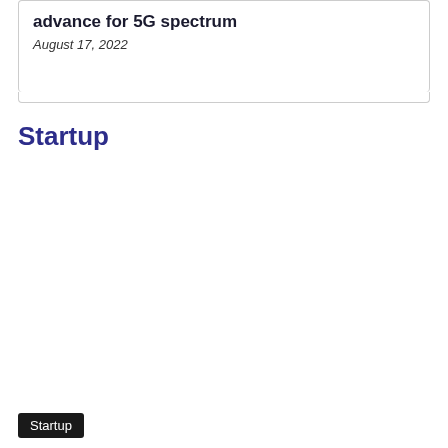advance for 5G spectrum
August 17, 2022
Startup
Startup